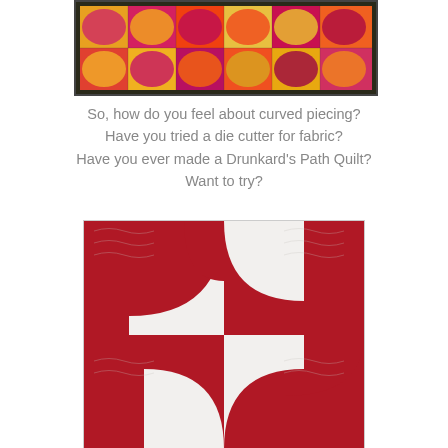[Figure (photo): Colorful curved-piecing quilt in warm tones of red, orange, yellow, and pink with a dark border, showing Drunkard's Path blocks]
So, how do you feel about curved piecing?
Have you tried a die cutter for fabric?
Have you ever made a Drunkard's Path Quilt?
Want to try?
[Figure (photo): Red and white Drunkard's Path quilt showing curved interlocking blocks with detailed quilting texture on the white portions]